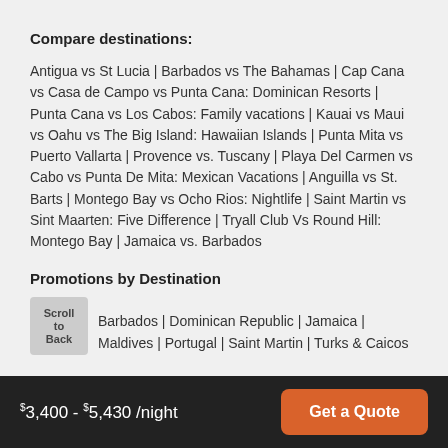Compare destinations:
Antigua vs St Lucia | Barbados vs The Bahamas | Cap Cana vs Casa de Campo vs Punta Cana: Dominican Resorts | Punta Cana vs Los Cabos: Family vacations | Kauai vs Maui vs Oahu vs The Big Island: Hawaiian Islands | Punta Mita vs Puerto Vallarta | Provence vs. Tuscany | Playa Del Carmen vs Cabo vs Punta De Mita: Mexican Vacations | Anguilla vs St. Barts | Montego Bay vs Ocho Rios: Nightlife | Saint Martin vs Sint Maarten: Five Difference | Tryall Club Vs Round Hill: Montego Bay | Jamaica vs. Barbados
Promotions by Destination
Barbados | Dominican Republic | Jamaica | Maldives | Portugal | Saint Martin | Turks & Caicos
$3,400 - $5,430 /night  Get a Quote